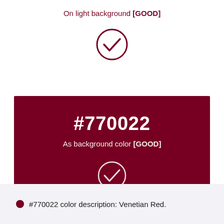On light background [GOOD]
[Figure (illustration): Checkmark inside a circle (dark red), indicating good usage on light background]
#770022
As background color [GOOD]
[Figure (illustration): Checkmark inside a circle (white), indicating good usage as background color]
#770022 color description: Venetian Red.